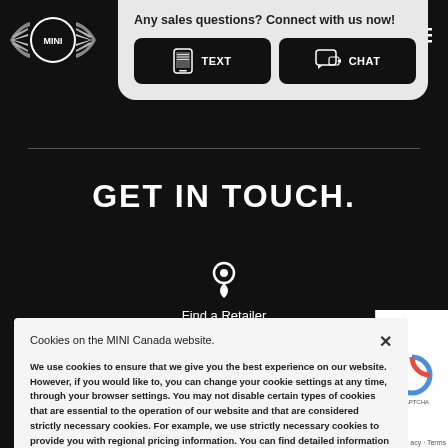[Figure (logo): MINI winged logo with circle]
Any sales questions? Connect with us now!
[Figure (screenshot): TEXT button with mobile device icon]
[Figure (screenshot): CHAT button with chat bubble icon]
GET IN TOUCH.
[Figure (illustration): Location pin icon]
Find a Retailer
Cookies on the MINI Canada website.
We use cookies to ensure that we give you the best experience on our website. However, if you would like to, you can change your cookie settings at any time, through your browser settings. You may not disable certain types of cookies that are essential to the operation of our website and that are considered strictly necessary cookies. For example, we use strictly necessary cookies to provide you with regional pricing information. You can find detailed information about how cookies are used on this website by clicking here.